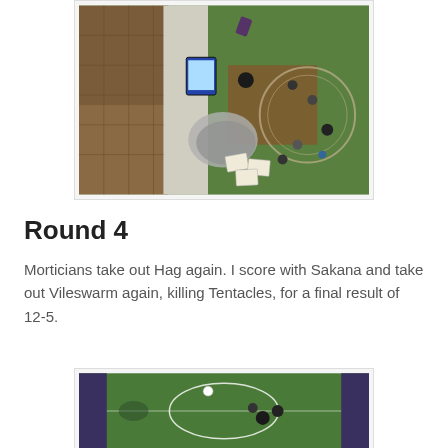[Figure (photo): Aerial overhead view of a tabletop miniature wargame in progress, showing game board with green and brown terrain, miniature figures, cards, tokens, and a tablet device visible.]
Round 4
Morticians take out Hag again. I score with Sakana and take out Vileswarm again, killing Tentacles, for a final result of 12-5.
[Figure (photo): Aerial overhead view of a tabletop miniature wargame board showing green pitch with white lines, miniature figures, and terrain pieces near the edges.]